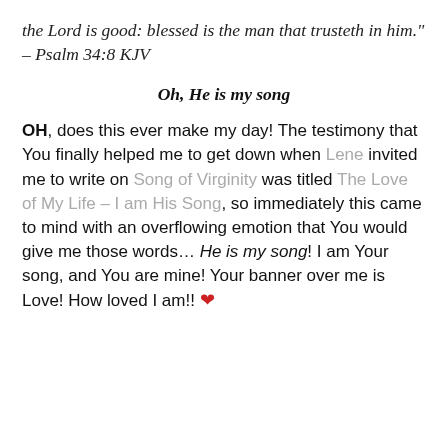the Lord is good: blessed is the man that trusteth in him." – Psalm 34:8 KJV
Oh, He is my song
OH, does this ever make my day! The testimony that You finally helped me to get down when Lene invited me to write on Song of Virginity was titled The Love of My Life – I am His Song, so immediately this came to mind with an overflowing emotion that You would give me those words... He is my song! I am Your song, and You are mine! Your banner over me is Love! How loved I am!! ❤